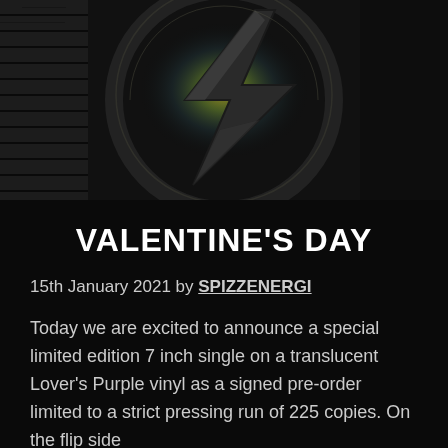[Figure (photo): Dark photograph showing a large circular graphic/logo with a lightning bolt or chevron shape inside it, set against a brick wall background with yellow/teal colored light visible through the circle. Black and white atmospheric photo.]
VALENTINE'S DAY
15th January 2021 by SPIZZENERGI
Today we are excited to announce a special limited edition 7 inch single on a translucent Lover's Purple vinyl as a signed pre-order limited to a strict pressing run of 225 copies. On the flip side